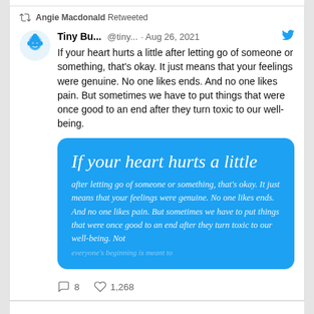Angie Macdonald Retweeted
Tiny Bu... @tiny... · Aug 26, 2021
If your heart hurts a little after letting go of someone or something, that's okay. It just means that your feelings were genuine. No one likes ends. And no one likes pain. But sometimes we have to put things that were once good to an end after they turn toxic to our well-being.
[Figure (infographic): Blue rounded rectangle card with white serif italic text reading: 'If your heart hurts a little after letting go of someone or something, that's okay. It just means that your feelings were genuine. No one likes ends. And no one likes pain. But sometimes we have to put things that were once good to an end after they turn toxic to our well-being. Not' (text cut off at bottom)]
8    1,268